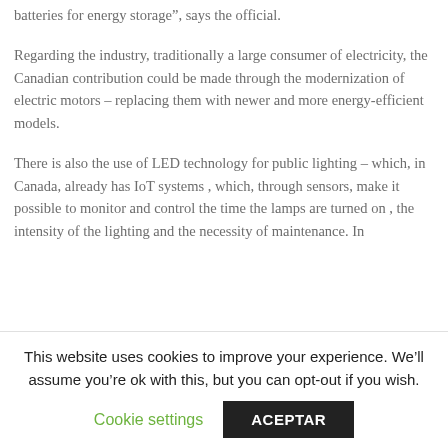batteries for energy storage", says the official.
Regarding the industry, traditionally a large consumer of electricity, the Canadian contribution could be made through the modernization of electric motors – replacing them with newer and more energy-efficient models.
There is also the use of LED technology for public lighting – which, in Canada, already has IoT systems , which, through sensors, make it possible to monitor and control the time the lamps are turned on , the intensity of the lighting and the necessity of maintenance. In
This website uses cookies to improve your experience. We’ll assume you’re ok with this, but you can opt-out if you wish.
Cookie settings
ACEPTAR